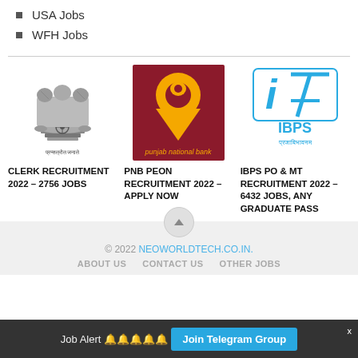USA Jobs
WFH Jobs
[Figure (logo): India government emblem / Ashoka Pillar logo with Sanskrit text below - associated with Clerk Recruitment]
CLERK RECRUITMENT 2022 – 2756 JOBS
[Figure (logo): Punjab National Bank logo - dark red background with yellow PNB symbol]
PNB PEON RECRUITMENT 2022 – APPLY NOW
[Figure (logo): IBPS logo - blue i7 style icon with IBPS text and Hindi script below]
IBPS PO & MT RECRUITMENT 2022 – 6432 JOBS, ANY GRADUATE PASS
© 2022 NEOWORLDTECH.CO.IN.  ABOUT US  CONTACT US  OTHER JOBS
Job Alert 🔔🔔🔔🔔🔔  Join Telegram Group